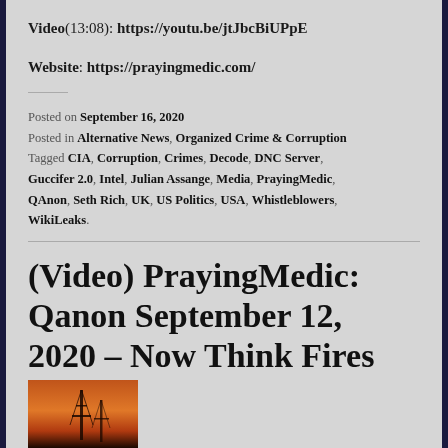Video(13:08): https://youtu.be/jtJbcBiUPpE
Website: https://prayingmedic.com/
Posted on September 16, 2020
Posted in Alternative News, Organized Crime & Corruption
Tagged CIA, Corruption, Crimes, Decode, DNC Server, Guccifer 2.0, Intel, Julian Assange, Media, PrayingMedic, QAnon, Seth Rich, UK, US Politics, USA, Whistleblowers, WikiLeaks.
(Video) PrayingMedic: Qanon September 12, 2020 – Now Think Fires
[Figure (photo): Thumbnail image showing silhouette of antennas or towers against an orange fiery sunset sky]